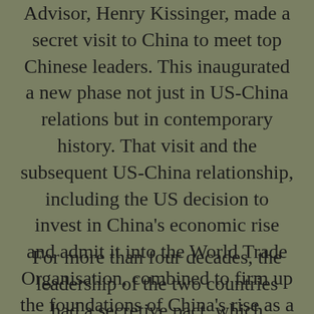Advisor, Henry Kissinger, made a secret visit to China to meet top Chinese leaders. This inaugurated a new phase not just in US-China relations but in contemporary history. That visit and the subsequent US-China relationship, including the US decision to invest in China's economic rise and admit it into the World Trade Organisation, combined to firm up the foundations of China's rise as a world power.
For more than four decades, the leadership of the two countries had a secretive pact, which worked well to each other's benefit. The US